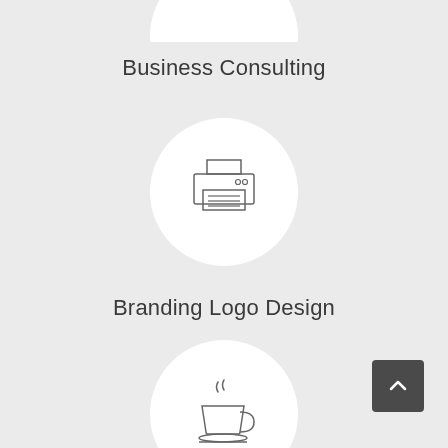[Figure (illustration): Partial white circle at top center of page, cropped at top edge]
Business Consulting
[Figure (illustration): White circle with printer icon inside]
Branding Logo Design
[Figure (illustration): White circle with steaming coffee cup icon inside]
[Figure (other): Dark gray scroll-to-top button with upward chevron arrow, bottom right corner]